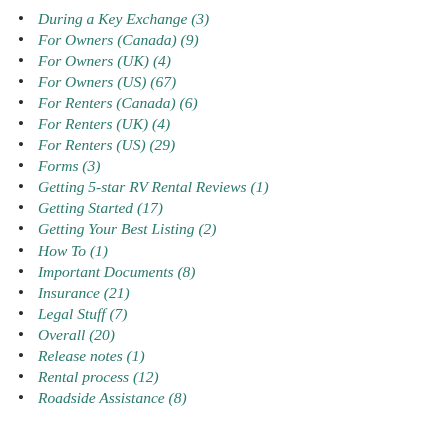During a Key Exchange (3)
For Owners (Canada) (9)
For Owners (UK) (4)
For Owners (US) (67)
For Renters (Canada) (6)
For Renters (UK) (4)
For Renters (US) (29)
Forms (3)
Getting 5-star RV Rental Reviews (1)
Getting Started (17)
Getting Your Best Listing (2)
How To (1)
Important Documents (8)
Insurance (21)
Legal Stuff (7)
Overall (20)
Release notes (1)
Rental process (12)
Roadside Assistance (8)